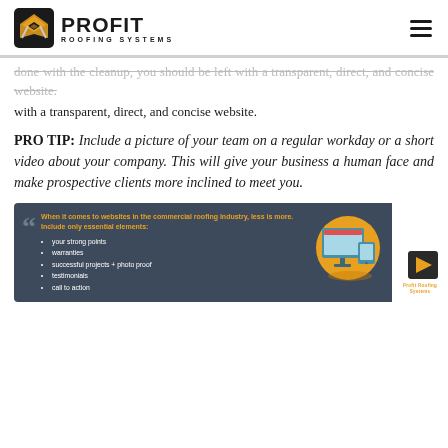[Figure (logo): Profit Roofing Systems logo with icon and hamburger menu]
done with the cleanup, you should be left with a transparent, direct, and concise website.
PRO TIP: Include a picture of your team on a regular workday or a short video about your company. This will give your business a human face and make prospective clients more inclined to meet you.
[Figure (infographic): Dark slate infographic with quote: When it comes to websites in the commercial roofing industry, less is more. Include only essential elements: your strong points, warranties, successful projects + photo proof, testimonials, call to action. With monitor/tablet illustration and Profit Roofing Systems logo.]